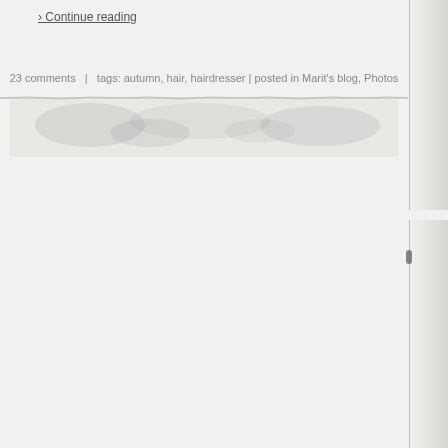› Continue reading
23 comments  |  tags: autumn, hair, hairdresser | posted in Marit's blog, Photos
[Figure (photo): Torn or textured paper divider strip, faded/washed out image of foliage or texture, spanning the width of the page]